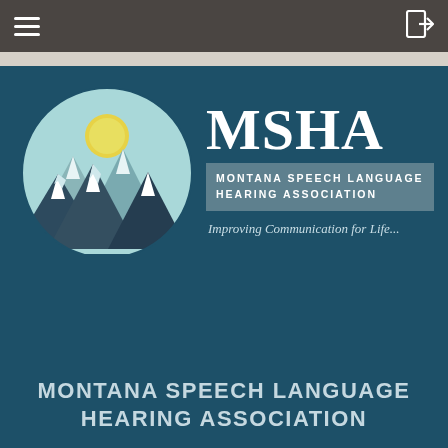Navigation bar with hamburger menu and login icon
[Figure (logo): MSHA Montana Speech Language Hearing Association logo with mountain illustration showing snow-capped peaks, a sun, and teal sky background. Includes text: MSHA, MONTANA SPEECH LANGUAGE HEARING ASSOCIATION, Improving Communication for Life...]
MONTANA SPEECH LANGUAGE HEARING ASSOCIATION